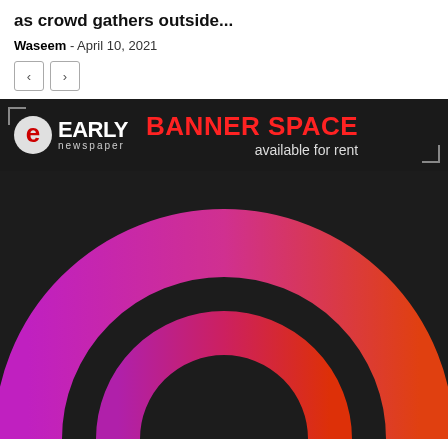as crowd gathers outside...
Waseem - April 10, 2021
[Figure (screenshot): Navigation previous/next buttons]
[Figure (logo): Early Newspaper banner ad with text 'BANNER SPACE available for rent']
[Figure (photo): Dark background with large gradient arc/rainbow logo mark in pink-purple to orange-red gradient colors]